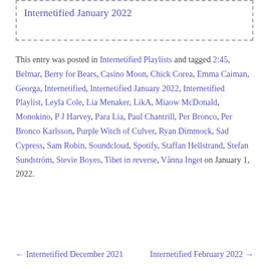Internetified January 2022
This entry was posted in Internetified Playlists and tagged 2:45, Belmar, Berry for Bears, Casino Moon, Chick Corea, Emma Caiman, Georga, Internetified, Internetified January 2022, Internetified Playlist, Leyla Cole, Lia Menaker, LikA, Miaow McDonald, Monokino, P J Harvey, Para Lia, Paul Chantrill, Per Bronco, Per Bronco Karlsson, Purple Witch of Culver, Ryan Dimmock, Sad Cypress, Sam Robin, Soundcloud, Spotify, Staffan Hellstrand, Stefan Sundström, Stevie Boyes, Tibet in reverse, Vånna Inget on January 1, 2022.
← Internetified December 2021
Internetified February 2022 →